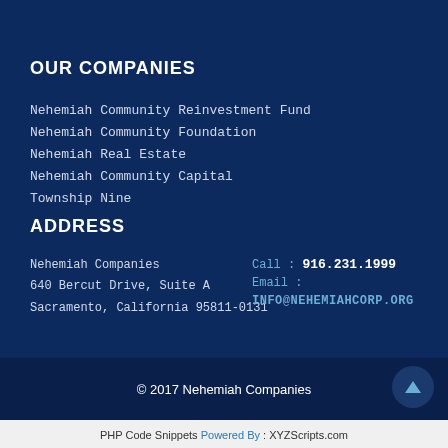OUR COMPANIES
Nehemiah Community Reinvestment Fund
Nehemiah Community Foundation
Nehemiah Real Estate
Nehemiah Community Capital
Township Nine
ADDRESS
Nehemiah Companies
640 Bercut Drive, Suite A
Sacramento, California 95811-0131
Call : 916.231.1999
Email :
INFO@NEHEMIAHCORP.ORG
© 2017 Nehemiah Companies
PHP Code Snippets Powered By : XYZScripts.com